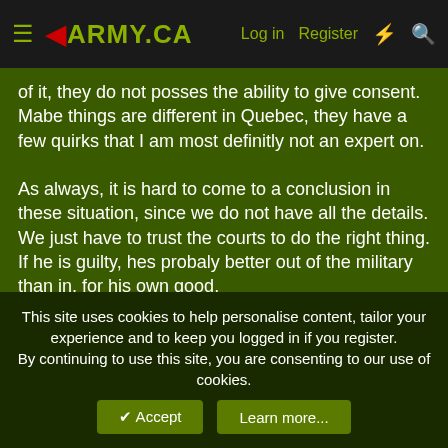◀ARMY.CA  Log in  Register
of it, they do not posses the ability to give consent. Mabe things are different in Quebec, they have a few quirks that I am most definitly not an expert on.

As always, it is hard to come to a conclusion in these situation, since we do not have all the details. We just have to trust the courts to do the right thing. If he is guilty, hes probaly better out of the military than in, for his own good.
FredDaHead
Banned  Banned
23 May 2007  #22
This site uses cookies to help personalise content, tailor your experience and to keep you logged in if you register.
By continuing to use this site, you are consenting to our use of cookies.